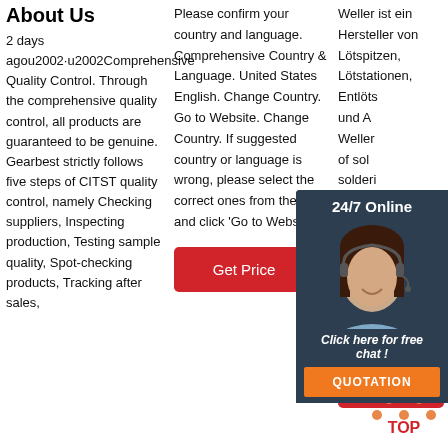About Us
2 days agou2002·u2002Comprehensive Quality Control. Through the comprehensive quality control, all products are guaranteed to be genuine. Gearbest strictly follows five steps of CITST quality control, namely Checking suppliers, Inspecting production, Testing sample quality, Spot-checking products, Tracking after sales,
Please confirm your country and language. Comprehensive Country & Language. United States English. Change Country. Go to Website. Change Country. If suggested country or language is wrong, please select the correct ones from the list and click 'Go to Website'.
Weller ist ein Hersteller von Lötspitzen, Lötstationen, Entlöts und Weller of sol solderi rework filter s Toggle Compa more C and language. country ...
[Figure (photo): 24/7 Online chat widget with a woman wearing a headset, dark background with 'Click here for free chat!' text and orange QUOTATION button]
[Figure (logo): TOP button with orange dots arranged in triangle and red TOP text]